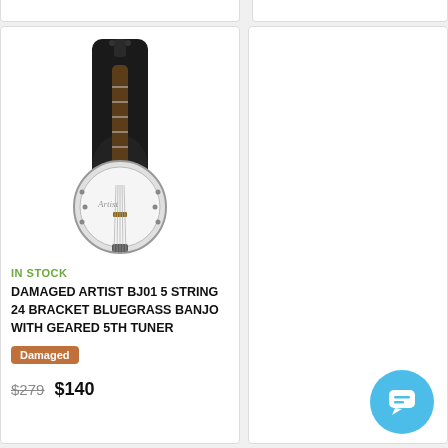[Figure (photo): A 5-string bluegrass banjo with geared 5th tuner leaning against a black padded gig bag]
IN STOCK
DAMAGED ARTIST BJ01 5 STRING 24 BRACKET BLUEGRASS BANJO WITH GEARED 5TH TUNER
Damaged
$279  $140